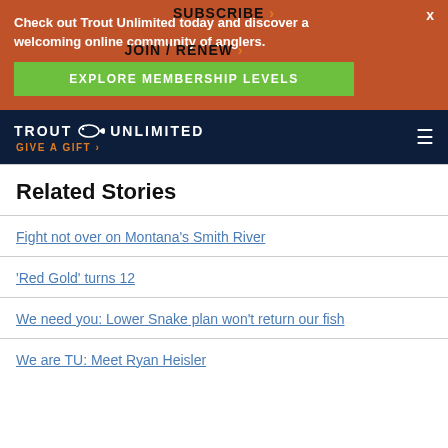[Figure (screenshot): Trout Unlimited website banner advertisement with orange background. Text reads 'Check out Trout Unlimited today and discover a welcoming online community of anglers.' with SUBSCRIBE overlay link, JOIN / RENEW overlay link, green button 'EXPLORE MEMBERSHIP LEVELS', and X close button.]
[Figure (screenshot): Trout Unlimited dark navy navigation bar with logo, fish icon, GIVE A GIFT link in orange, and hamburger menu icon.]
Related Stories
Fight not over on Montana's Smith River
'Red Gold' turns 12
We need you: Lower Snake plan won't return our fish
We are TU: Meet Ryan Heisler